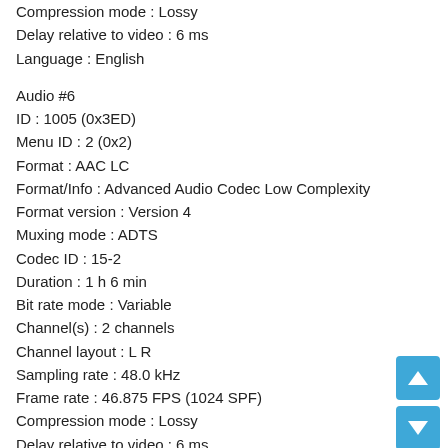Compression mode : Lossy
Delay relative to video : 6 ms
Language : English
Audio #6
ID : 1005 (0x3ED)
Menu ID : 2 (0x2)
Format : AAC LC
Format/Info : Advanced Audio Codec Low Complexity
Format version : Version 4
Muxing mode : ADTS
Codec ID : 15-2
Duration : 1 h 6 min
Bit rate mode : Variable
Channel(s) : 2 channels
Channel layout : L R
Sampling rate : 48.0 kHz
Frame rate : 46.875 FPS (1024 SPF)
Compression mode : Lossy
Delay relative to video : 6 ms
Language : English
Audio #7
ID : 1008 (0x3F0)
Menu ID : 2 (0x2)